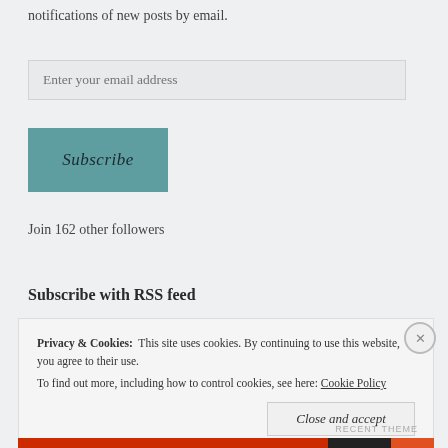notifications of new posts by email.
Enter your email address
Subscribe
Join 162 other followers
Subscribe with RSS feed
Privacy & Cookies:  This site uses cookies. By continuing to use this website, you agree to their use.
To find out more, including how to control cookies, see here: Cookie Policy
Close and accept